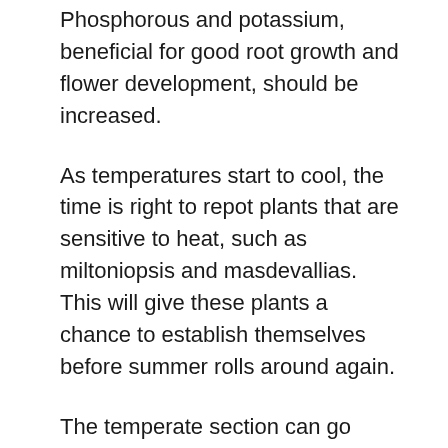Phosphorous and potassium, beneficial for good root growth and flower development, should be increased.
As temperatures start to cool, the time is right to repot plants that are sensitive to heat, such as miltoniopsis and masdevallias. This will give these plants a chance to establish themselves before summer rolls around again.
The temperate section can go without heat until night temperatures drop to 50 degrees. Special attention should be given to see that plants do not get burned in the process, because we can still have some bright, sunny and extremely warm days in the late fall.